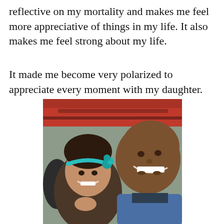reflective on my mortality and makes me feel more appreciative of things in my life. It also makes me feel strong about my life.
It made me become very polarized to appreciate every moment with my daughter.
[Figure (photo): A selfie of a smiling bald man and a young girl wearing a teal headband with a flower, taken indoors under a red ceiling structure.]